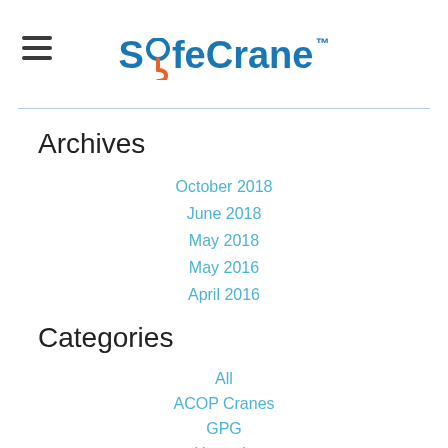SafeCrane™
Archives
October 2018
June 2018
May 2018
May 2016
April 2016
Categories
All
ACOP Cranes
GPG
Hazards
HSWA
Lift Planning